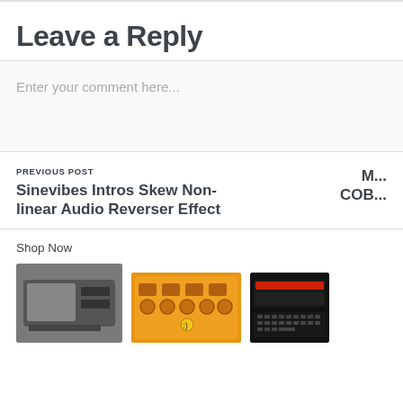Leave a Reply
Enter your comment here...
PREVIOUS POST
Sinevibes Intros Skew Non-linear Audio Reverser Effect
M... COB...
Shop Now
[Figure (photo): Product image 1: vintage cassette recorder/player, dark gray]
[Figure (photo): Product image 2: yellow synthesizer/bass unit (TD-3 style)]
[Figure (photo): Product image 3: black keyboard/synthesizer, partially visible]